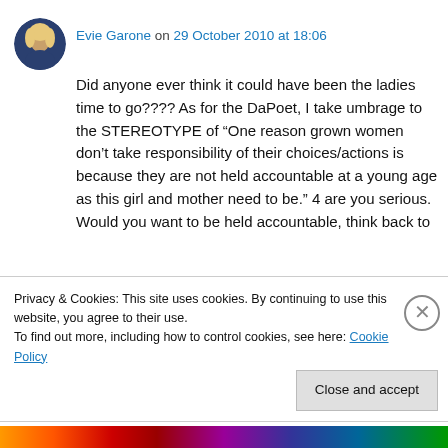[Figure (photo): Circular avatar photo of Evie Garone, a woman with blonde hair against a dark background]
Evie Garone on 29 October 2010 at 18:06
Did anyone ever think it could have been the ladies time to go???? As for the DaPoet, I take umbrage to the STEREOTYPE of “One reason grown women don’t take responsibility of their choices/actions is because they are not held accountable at a young age as this girl and mother need to be.” 4 are you serious. Would you want to be held accountable, think back to
Privacy & Cookies: This site uses cookies. By continuing to use this website, you agree to their use.
To find out more, including how to control cookies, see here: Cookie Policy
Close and accept